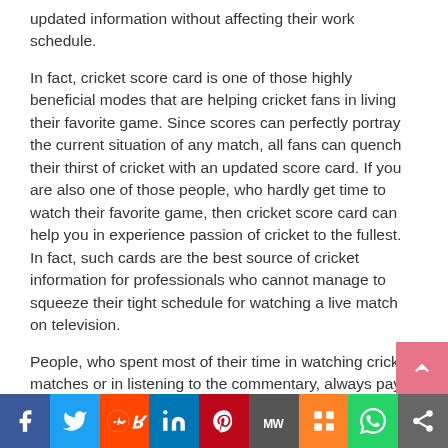updated information without affecting their work schedule.
In fact, cricket score card is one of those highly beneficial modes that are helping cricket fans in living their favorite game. Since scores can perfectly portray the current situation of any match, all fans can quench their thirst of cricket with an updated score card. If you are also one of those people, who hardly get time to watch their favorite game, then cricket score card can help you in experience passion of cricket to the fullest. In fact, such cards are the best source of cricket information for professionals who cannot manage to squeeze their tight schedule for watching a live match on television.
People, who spent most of their time in watching cricket matches or in listening to the commentary, always pay for success of their favorite team. However, without proper knowledge of scored, guessing the exact position of match is quite difficult. This is the point where cricket
[Figure (other): Social sharing bar with icons for Facebook, Twitter, Reddit, LinkedIn, Pinterest, MW, Mix, WhatsApp, and share buttons]